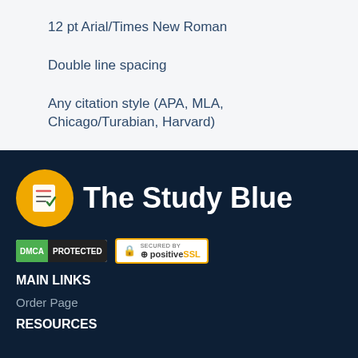12 pt Arial/Times New Roman
Double line spacing
Any citation style (APA, MLA, Chicago/Turabian, Harvard)
[Figure (logo): The Study Blue logo with orange circle icon containing document/checklist graphic and white text 'The Study Blue']
[Figure (logo): DMCA Protected badge]
[Figure (logo): Secured by PositiveSSL badge]
MAIN LINKS
Order Page
RESOURCES